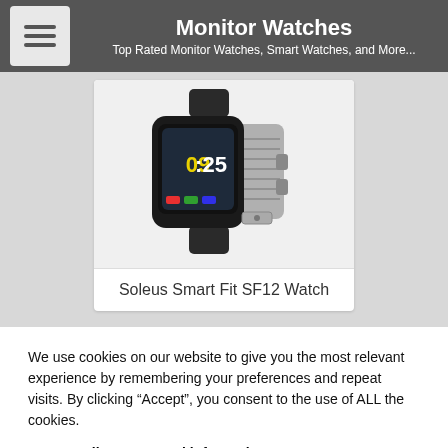Monitor Watches
Top Rated Monitor Watches, Smart Watches, and More...
[Figure (photo): Smartwatch product image showing a Soleus Smart Fit SF12 Watch with a black and grey band, displaying time 09:25 on a colorful touchscreen]
Soleus Smart Fit SF12 Watch
We use cookies on our website to give you the most relevant experience by remembering your preferences and repeat visits. By clicking “Accept”, you consent to the use of ALL the cookies.
Do not sell my personal information.
Cookie Settings  Accept